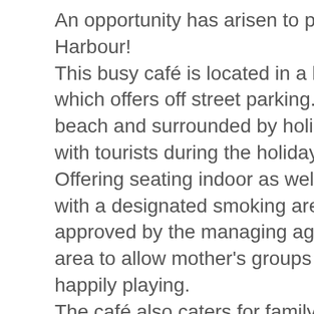An opportunity has arisen to purchase this café in a prime location in Narrabeen Harbour! This busy café is located in a high traffic area within the local Northshore shopping centre which offers off street parking. Only a short 10 minute stroll from Collaroy/Narrabeen beach and surrounded by holiday accommodation. Attracting locals year round and bustling with tourists during the holiday season. Offering seating indoor as well as alfresco seating, this café is the one to consider. Along with a designated smoking area which complies with the NSW Health regulations and approved by the managing agent for the centre. There is also a designated children's play area to allow mother's groups to catch up and enjoy time together while the little ones are happily playing. The café also caters for family special occasions, birthdays, business meetings and small functions with the capacity to seat over 20 guests inside. The café is currently trading 5.5 days per week and the hours are flexible. The café offers its patrons good home cooked breakfasts, lunches and snacks. This is an attractive café in a prime position and offers great cash flow. This would also suit an owner/operator partnership. The owner is selling due to other business committments and wants a quick sale so act now!!!!!